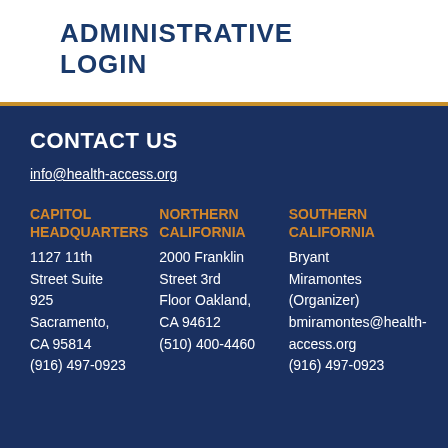ADMINISTRATIVE LOGIN
CONTACT US
info@health-access.org
CAPITOL HEADQUARTERS
1127 11th Street Suite 925
Sacramento, CA 95814
(916) 497-0923
NORTHERN CALIFORNIA
2000 Franklin Street 3rd Floor Oakland, CA 94612
(510) 400-4460
SOUTHERN CALIFORNIA
Bryant Miramontes (Organizer)
bmiramontes@health-access.org
(916) 497-0923